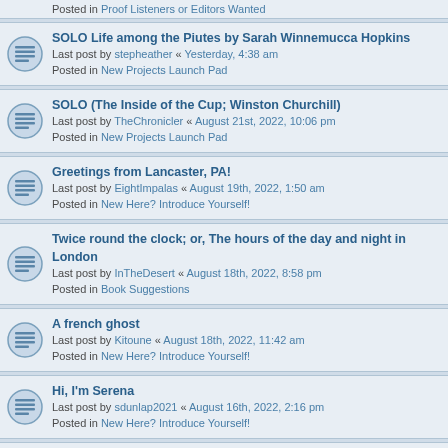Posted in Proof Listeners or Editors Wanted
SOLO Life among the Piutes by Sarah Winnemucca Hopkins
Last post by stepheather « Yesterday, 4:38 am
Posted in New Projects Launch Pad
SOLO (The Inside of the Cup; Winston Churchill)
Last post by TheChronicler « August 21st, 2022, 10:06 pm
Posted in New Projects Launch Pad
Greetings from Lancaster, PA!
Last post by EightImpalas « August 19th, 2022, 1:50 am
Posted in New Here? Introduce Yourself!
Twice round the clock; or, The hours of the day and night in London
Last post by InTheDesert « August 18th, 2022, 8:58 pm
Posted in Book Suggestions
A french ghost
Last post by Kitoune « August 18th, 2022, 11:42 am
Posted in New Here? Introduce Yourself!
Hi, I'm Serena
Last post by sdunlap2021 « August 16th, 2022, 2:16 pm
Posted in New Here? Introduce Yourself!
Test by speakeasy95 [OK]
Last post by philchenevert « August 16th, 2022, 10:50 am
Posted in Post Your 1-Minute Test Recording Here
Hello, this is new for me!
Last post by 1017 « August 15th, 2022, 10:12 pm
Posted in New Here? Introduce Yourself!